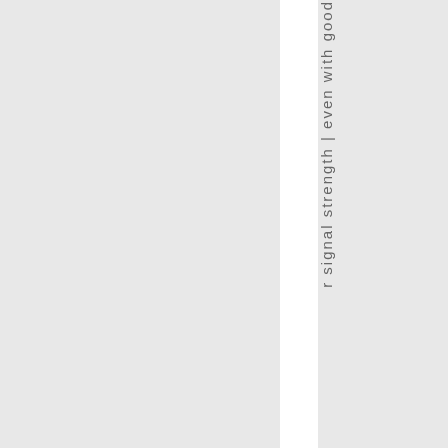r signal strength | even with good